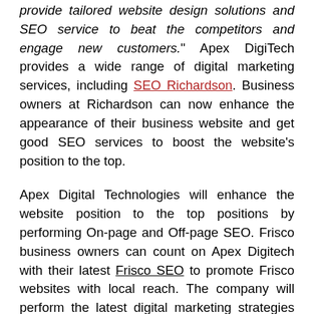provide tailored website design solutions and SEO service to beat the competitors and engage new customers." Apex DigiTech provides a wide range of digital marketing services, including SEO Richardson. Business owners at Richardson can now enhance the appearance of their business website and get good SEO services to boost the website's position to the top.
Apex Digital Technologies will enhance the website position to the top positions by performing On-page and Off-page SEO. Frisco business owners can count on Apex Digitech with their latest Frisco SEO to promote Frisco websites with local reach. The company will perform the latest digital marketing strategies such as PPC (Pay per click), article marketing, influencer marketing, and social media marketing. This way, getting new customers from specific areas is possible and easier with Apex Digital Tech's local SEO service.
Apex Digital Tech SEO experts have more than five years